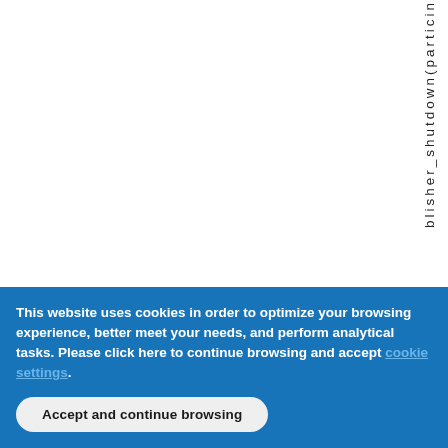[Figure (screenshot): A document page screenshot showing three columns: a white left column, a light blue middle column, and a right column with vertical text reading 'publisher_shutdown(partic...' rotated 90 degrees. A cookie consent banner overlays the bottom portion.]
blisher_shutdown(particip...
This website uses cookies in order to optimize your browsing experience, better meet your needs, and perform analytical tasks. Please click here to continue browsing and accept [cookie settings].
Accept and continue browsing